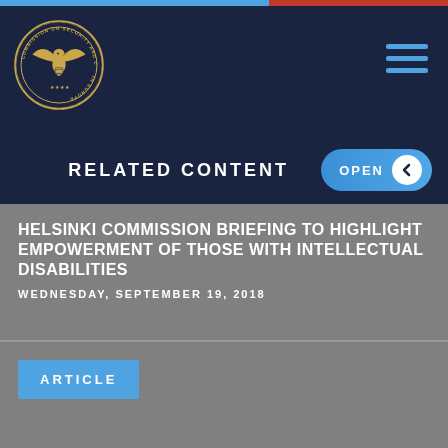[Figure (logo): Commission on Security and Cooperation in Europe seal/logo — gold eagle emblem on dark navy background]
RELATED CONTENT
HELSINKI COMMISSION BRIEFING TO HIGHLIGHT EMPOWERMENT OF THOSE WITH INTELLECTUAL DISABILITIES
WEDNESDAY, SEPTEMBER 19, 2018
ARTICLE